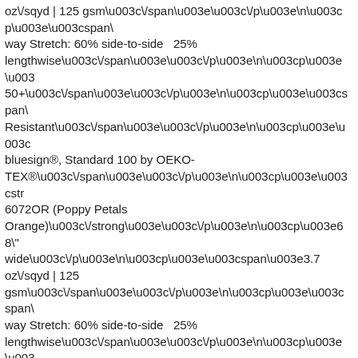oz\/sqyd | 125 gsm\u003c\/span\u003e\u003c\/p\u003e\n\u003cp\u003e\u003cspan\ way Stretch: 60% side-to-side  25% lengthwise\u003c\/span\u003e\u003c\/p\u003e\n\u003cp\u003e\u003 50+\u003c\/span\u003e\u003c\/p\u003e\n\u003cp\u003e\u003cspan\ Resistant\u003c\/span\u003e\u003c\/p\u003e\n\u003cp\u003e\u003c bluesign®, Standard 100 by OEKO-TEX®\u003c\/span\u003e\u003c\/p\u003e\n\u003cp\u003e\u003cstr 6072OR (Poppy Petals Orange)\u003c\/strong\u003e\u003c\/p\u003e\n\u003cp\u003e68" wide\u003c\/p\u003e\n\u003cp\u003e\u003cspan\u003e3.7 oz\/sqyd | 125 gsm\u003c\/span\u003e\u003c\/p\u003e\n\u003cp\u003e\u003cspan\ way Stretch: 60% side-to-side  25% lengthwise\u003c\/span\u003e\u003c\/p\u003e\n\u003cp\u003e\u003 50+\u003c\/span\u003e\u003c\/p\u003e\n\u003cp\u003e\u003cspan\ Resistant\u003c\/span\u003e\u003c\/p\u003e\n\u003cp\u003e\u003c bluesign®, Standard 100 by OEKO-TEX®\u003c\/span\u003e\u003c\/p\u003e\n\u003cp\u003e\u003cstr 6083OR (Navy), Mesh Jersey Face and Back\u003c\/strong\u003e\u003c\/p\u003e\n\u003cp\u003e89% Polyester 11% Spandex\u003c\/p\u003e\n\u003cp\u003e56" wide\u003c\/p\u003e\n\u003cp\u003e3.4 oz\/sqyd | 115 gsm\u003c\/p\u003e\n\u003cp\u003e4-way Stretch: 80% in both directions\u003c\/p\u003e\n\u003cp\u003eUPF